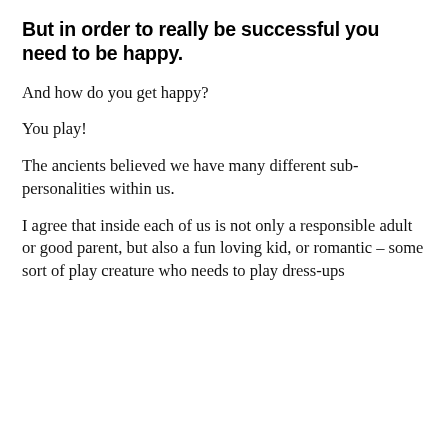But in order to really be successful you need to be happy.
And how do you get happy?
You play!
The ancients believed we have many different sub-personalities within us.
I agree that inside each of us is not only a responsible adult or good parent, but also a fun loving kid, or romantic – some sort of play creature who needs to play dress-ups